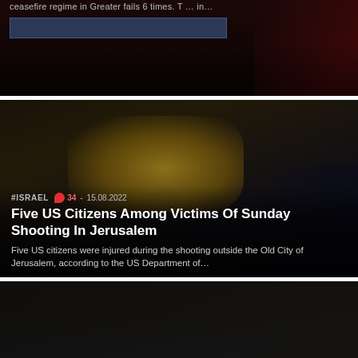[Figure (screenshot): Partial top news card with dark background, blue highlighted banner strip partially visible]
[Figure (screenshot): News card with dark nighttime street scene, taxi in background. Israel tag, 34 comments, dated 15.08.2022]
#ISRAEL  34  -  15.08.2022
Five US Citizens Among Victims Of Sunday Shooting In Jerusalem
Five US citizens were injured during the shooting outside the Old City of Jerusalem, according to the US Department of…
[Figure (screenshot): News card with very dark background. Israel tag, 56 comments, dated 14.08.2022]
#ISRAEL  56  -  14.08.2022
Three Syrian Soldiers Killed In New Israeli Attack That Targeted Damascus & Tartus (Videos)
Late on August 14, a series of Israeli strikes hit military positions in the southern and western regions of Syria,…